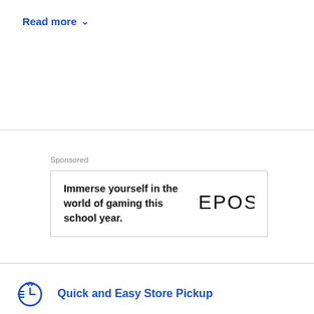Read more ∨
Sponsored
[Figure (other): Advertisement banner for EPOS with text 'Immerse yourself in the world of gaming this school year.' and EPOS logo on the right]
Quick and Easy Store Pickup